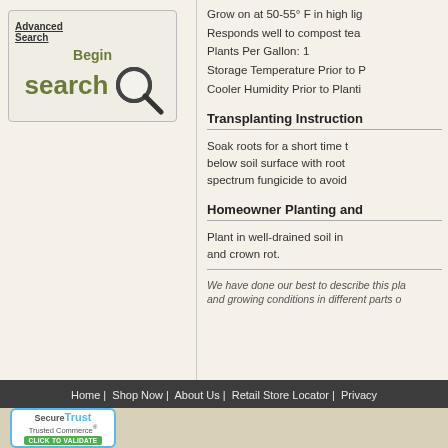[Figure (screenshot): Search box with magnifying glass icon, showing 'Advanced Search' link, 'Begin' text and large 'search' text in olive green.]
Grow on at 50-55° F in high lig
Responds well to compost tea
Plants Per Gallon: 1
Storage Temperature Prior to P
Cooler Humidity Prior to Planti
Transplanting Instruction
Soak roots for a short time t
below soil surface with root
spectrum fungicide to avoid
Homeowner Planting and
Plant in well-drained soil in
and crown rot.
We have done our best to describe this pla
and growing conditions in different parts o
Home |  Shop Now |  About Us |  Retail Store Locator |  Privacy
[Figure (logo): SecureTrust Trusted Commerce CLICK TO VALIDATE badge]